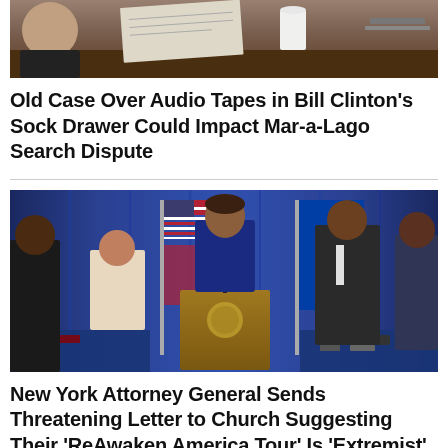[Figure (photo): Partial view of a person seated at a desk with papers and a white cup visible in the upper portion of the frame]
Old Case Over Audio Tapes in Bill Clinton's Sock Drawer Could Impact Mar-a-Lago Search Dispute
[Figure (photo): New York Attorney General Letitia James standing at a podium with a seal, flanked by people and American flags against a blue curtain backdrop, with tables of items in foreground]
New York Attorney General Sends Threatening Letter to Church Suggesting Their 'ReAwaken America Tour' Is 'Extremist' and 'Racially Motivated'